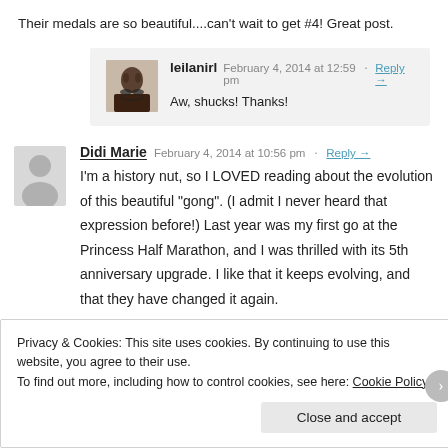Their medals are so beautiful....can't wait to get #4! Great post.
leilanirl  February 4, 2014 at 12:59 pm · Reply →
Aw, shucks! Thanks!
Didi Marie  February 4, 2014 at 10:56 pm · Reply →
I'm a history nut, so I LOVED reading about the evolution of this beautiful "gong". (I admit I never heard that expression before!) Last year was my first go at the Princess Half Marathon, and I was thrilled with its 5th anniversary upgrade. I like that it keeps evolving, and that they have changed it again.
Privacy & Cookies: This site uses cookies. By continuing to use this website, you agree to their use.
To find out more, including how to control cookies, see here: Cookie Policy
Close and accept